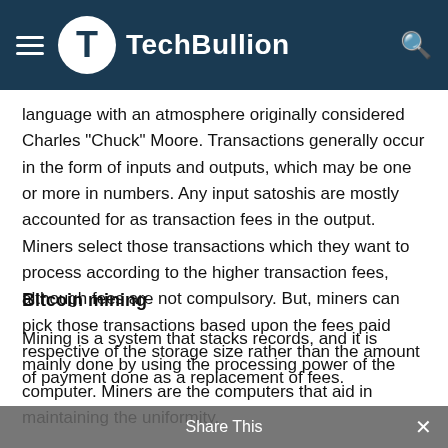TechBullion
language with an atmosphere originally considered Charles “Chuck” Moore. Transactions generally occur in the form of inputs and outputs, which may be one or more in numbers. Any input satoshis are mostly accounted for as transaction fees in the output. Miners select those transactions which they want to process according to the higher transaction fees, although fees are not compulsory. But, miners can pick those transactions based upon the fees paid respective of the storage size rather than the amount of payment done as a replacement of fees.
Bitcoin mining
Mining is a system that stacks records, and it is mainly done by using the processing power of the computer. Miners are the computers that aid in maintaining the uniformity, completing and immutability. It is done by the process of...